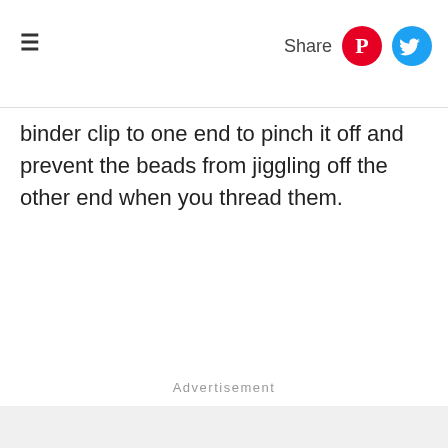≡  Share
binder clip to one end to pinch it off and prevent the beads from jiggling off the other end when you thread them.
Advertisement